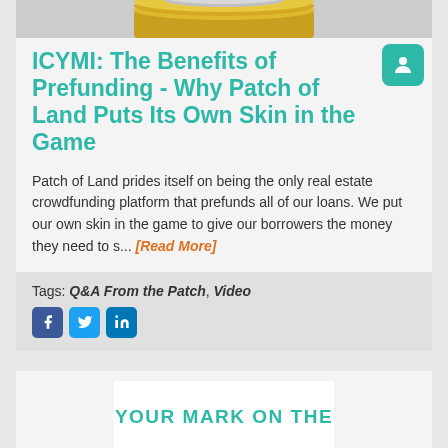[Figure (photo): Stacked gold and silver coins image at top of article card]
ICYMI: The Benefits of Prefunding - Why Patch of Land Puts Its Own Skin in the Game
Patch of Land prides itself on being the only real estate crowdfunding platform that prefunds all of our loans. We put our own skin in the game to give our borrowers the money they need to s... [Read More]
Tags: Q&A From the Patch, Video
[Figure (other): YOUR MARK ON THE - partial text visible in second card at bottom]